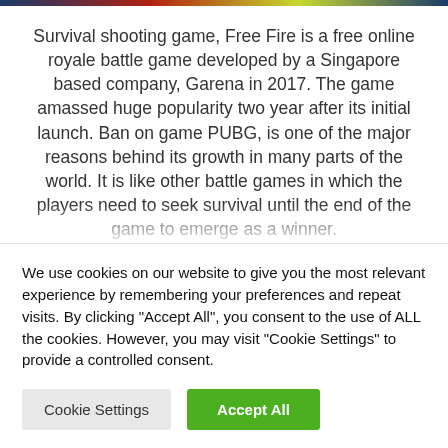[Figure (photo): Partial image bar visible at top of page (game screenshot cropped)]
Survival shooting game, Free Fire is a free online royale battle game developed by a Singapore based company, Garena in 2017. The game amassed huge popularity two year after its initial launch. Ban on game PUBG, is one of the major reasons behind its growth in many parts of the world. It is like other battle games in which the players need to seek survival until the end of the game to emerge as a winner.
We use cookies on our website to give you the most relevant experience by remembering your preferences and repeat visits. By clicking "Accept All", you consent to the use of ALL the cookies. However, you may visit "Cookie Settings" to provide a controlled consent.